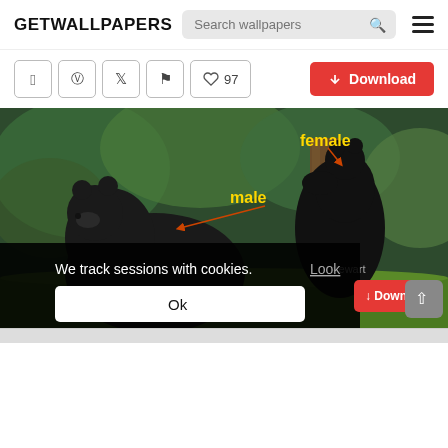GETWALLPAPERS
[Figure (screenshot): Website screenshot of GETWALLPAPERS showing two black bears in a garden, labeled 'male' and 'female' with orange arrows, overlaid with a cookie consent popup reading 'We track sessions with cookies. Look' and an 'Ok' button, plus a Download button and scroll-to-top button.]